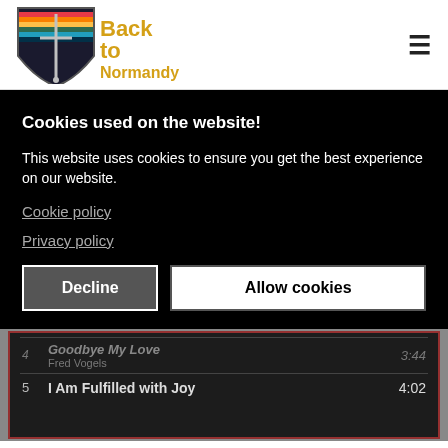[Figure (logo): Back to Normandy logo: shield with rainbow/stripe, sword, yellow text 'Back to Normandy']
≡
Cookies used on the website!
This website uses cookies to ensure you get the best experience on our website.
Cookie policy
Privacy policy
Decline
Allow cookies
| # | Title | Duration |
| --- | --- | --- |
| 4 | Goodbye My Love
Fred Vogels | 3:44 |
| 5 | I Am Fulfilled with Joy | 4:02 |